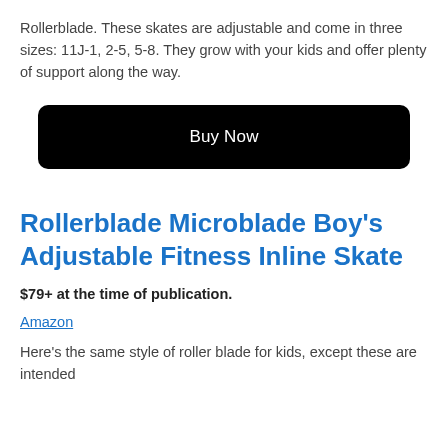Rollerblade. These skates are adjustable and come in three sizes: 11J-1, 2-5, 5-8. They grow with your kids and offer plenty of support along the way.
[Figure (other): Black rounded rectangle button with white text 'Buy Now']
Rollerblade Microblade Boy's Adjustable Fitness Inline Skate
$79+ at the time of publication.
Amazon
Here's the same style of roller blade for kids, except these are intended